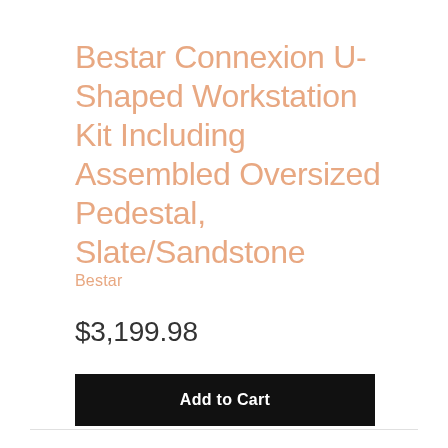Bestar Connexion U-Shaped Workstation Kit Including Assembled Oversized Pedestal, Slate/Sandstone
Bestar
$3,199.98
Add to Cart